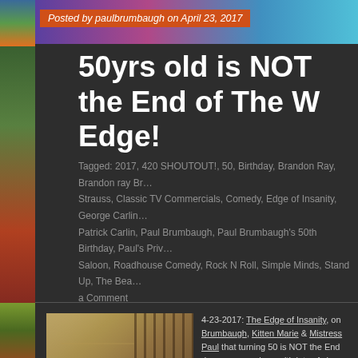Posted by paulbrumbaugh on April 23, 2017
50yrs old is NOT the End of The W… Edge!
Tagged: 2017, 420 SHOUTOUT!, 50, Birthday, Brandon Ray, Brandon ray Br… Strauss, Classic TV Commercials, Comedy, Edge of Insanity, George Carlin… Patrick Carlin, Paul Brumbaugh, Paul Brumbaugh's 50th Birthday, Paul's Priv… Saloon, Roadhouse Comedy, Rock N Roll, Simple Minds, Stand Up, The Bea… a Comment
[Figure (photo): Photo of people on a staircase, three people visible at the bottom smiling]
4-23-2017: The Edge of Insanity, on Brumbaugh, Kitten Marie & Mistress Paul that turning 50 is NOT the End down memory lane with lots of class 420 SHOUTOUT! with Patrick Carlin Pioneer Saloon this week, as we dis plus a shot of George Carlin on the s
Please listen Live and Download ev they get put in a mayonnaise jar & le until